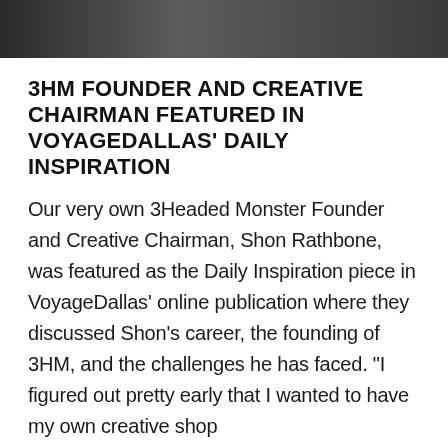[Figure (photo): Dark/grayscale photo of a person, cropped to show only the top portion, used as a banner image at the top of the page.]
3HM FOUNDER AND CREATIVE CHAIRMAN FEATURED IN VOYAGEDALLAS' DAILY INSPIRATION
Our very own 3Headed Monster Founder and Creative Chairman, Shon Rathbone, was featured as the Daily Inspiration piece in VoyageDallas' online publication where they discussed Shon's career, the founding of 3HM, and the challenges he has faced. "I figured out pretty early that I wanted to have my own creative shop